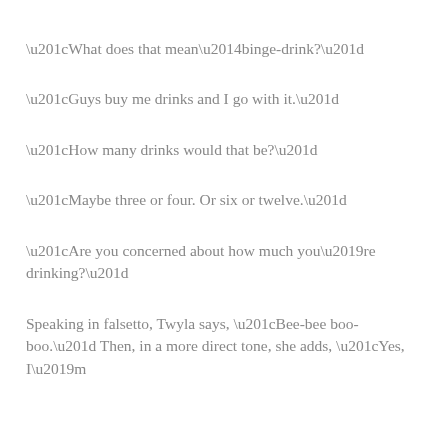“What does that mean—binge-drink?”
“Guys buy me drinks and I go with it.”
“How many drinks would that be?”
“Maybe three or four. Or six or twelve.”
“Are you concerned about how much you’re drinking?”
Speaking in falsetto, Twyla says, “Bee-bee boo-boo.” Then, in a more direct tone, she adds, “Yes, I’m